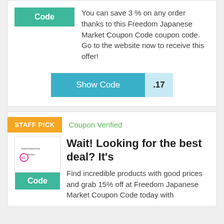You can save 3 % on any order thanks to this Freedom Japanese Market Coupon Code coupon code. Go to the website now to receive this offer!
Show Code .17
STAFF PICK
Coupon Verified
Wait! Looking for the best deal? It's
Find incredible products with good prices and grab 15% off at Freedom Japanese Market Coupon Code today with